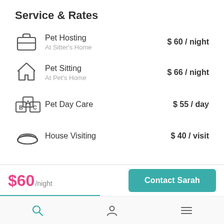Service & Rates
Pet Hosting | At Sitter's Home | $ 60 / night
Pet Sitting | At Pet's Home | $ 66 / night
Pet Day Care | $ 55 / day
House Visiting | $ 40 / visit
$60/night
Contact Sarah